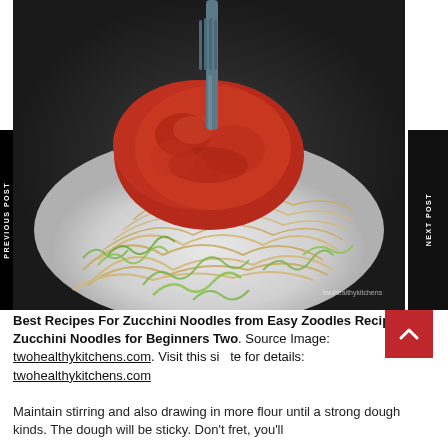[Figure (photo): A white bowl filled with zucchini noodles (zoodles) and spaghetti topped with red tomato marinara sauce, with a metal fork inserted into the top. The background is dark/wooden. A faint watermark is visible in the lower right.]
Best Recipes For Zucchini Noodles from Easy Zoodles Recipe Zucchini Noodles for Beginners Two. Source Image: twohealthykitchens.com. Visit this site for details: twohealthykitchens.com
Maintain stirring and also drawing in more flour until a strong dough kinds. The dough will be sticky. Don't fret, you'll